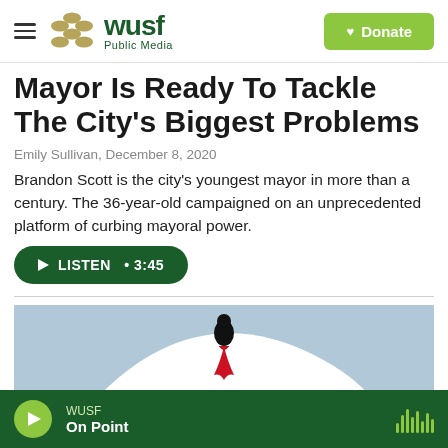WUSF Public Media — Donate
Mayor Is Ready To Tackle The City's Biggest Problems
Emily Sullivan,  December 8, 2020
Brandon Scott is the city's youngest mayor in more than a century. The 36-year-old campaigned on an unprecedented platform of curbing mayoral power.
[Figure (other): Listen button: play icon, LISTEN • 3:45]
[Figure (illustration): Illustrated image of a figure in black on a white hill shape against a blue sky background, with a red ribbon/tie detail]
WUSF — On Point — audio player bar